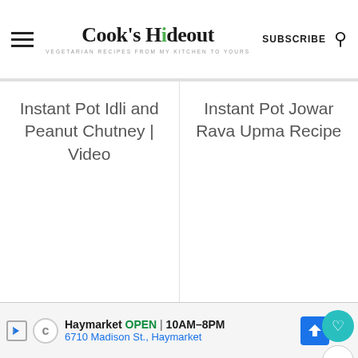Cook's Hideout — VEGETARIAN RECIPES FROM MY KITCHEN TO YOURS — SUBSCRIBE
Instant Pot Idli and Peanut Chutney | Video
Instant Pot Jowar Rava Upma Recipe
[Figure (photo): Photo of a round idli in a blue ceramic bowl viewed from above]
[Figure (photo): Photo of bowls with orange and white side dishes with flatbread, with What's Next overlay showing Instant Wheat Rava Dosa...]
WHAT'S NEXT → Instant Wheat Rava Dosa...
Haymarket OPEN | 10AM–8PM 6710 Madison St., Haymarket